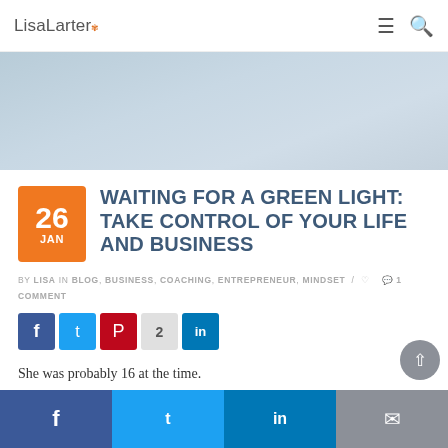LisaLarter
[Figure (photo): Hero image with light blue-grey sky/cloud background]
WAITING FOR A GREEN LIGHT: TAKE CONTROL OF YOUR LIFE AND BUSINESS
BY LISA IN BLOG, BUSINESS, COACHING, ENTREPRENEUR, MINDSET / ♡  💬 1 COMMENT
[Figure (infographic): Social share buttons: Facebook, Twitter, Pinterest (count: 2), LinkedIn]
She was probably 16 at the time.
She was a part-time sales associate
f  Twitter  in  ✉